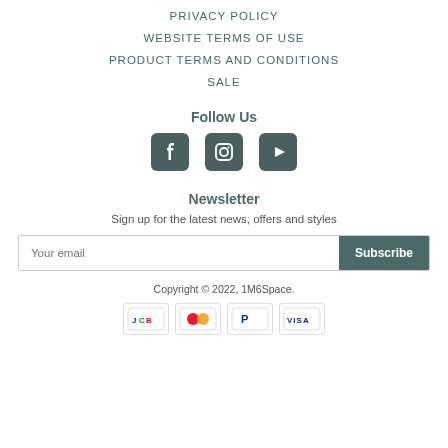PRIVACY POLICY
WEBSITE TERMS OF USE
PRODUCT TERMS AND CONDITIONS
SALE
Follow Us
[Figure (illustration): Social media icons: Facebook, Instagram, YouTube]
Newsletter
Sign up for the latest news, offers and styles
Your email / Subscribe button
Copyright © 2022, 1M6Space.
[Figure (illustration): Payment method icons: JCB, Mastercard, PayPal, Visa]